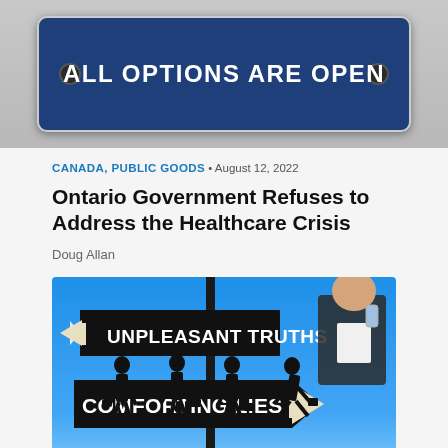[Figure (photo): Ontario license plate style banner with dark blue background and white bold text reading ALL OPTIONS ARE OPEN, with two oval screw holes on left and right]
CANADA, PUBLIC GOODS • August 12, 2022
Ontario Government Refuses to Address the Healthcare Crisis
Doug Allan
[Figure (illustration): Blue sky background illustration with street signs reading UNPLEASANT TRUTHS pointing left and COMFORTING LIES pointing right, with silhouettes of walking people at the bottom and a politician figure holding a can in the upper right]